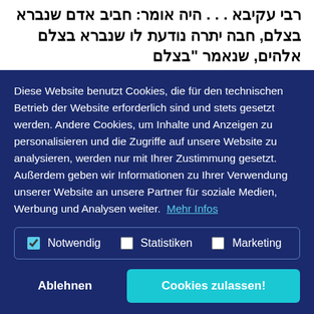רבי עקיבא . . . היה אומר: חביב אדם שנברא בצלם, חבה יתרה נודעת לו שנברא בצלם אלהים, שנאמר "בצלם אלהים עשה את האדם" (בראשית נוי), מביאים וישראל שוכבים
Diese Website benutzt Cookies, die für den technischen Betrieb der Website erforderlich sind und stets gesetzt werden. Andere Cookies, um Inhalte und Anzeigen zu personalisieren und die Zugriffe auf unsere Website zu analysieren, werden nur mit Ihrer Zustimmung gesetzt. Außerdem geben wir Informationen zu Ihrer Verwendung unserer Website an unsere Partner für soziale Medien, Werbung und Analysen weiter.  Mehr Infos
Notwendig | Statistiken | Marketing
Ablehnen | Cookies zulassen!
It ... th... fi... humans in the divine image – like Ben Azzai (although